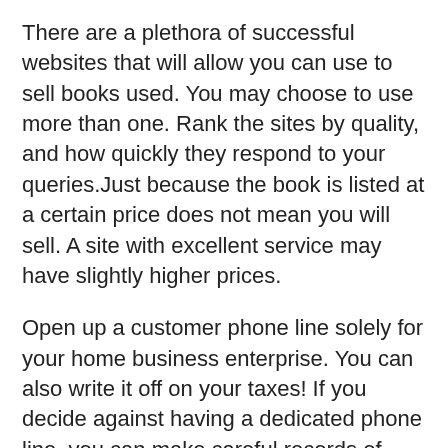There are a plethora of successful websites that will allow you can use to sell books used. You may choose to use more than one. Rank the sites by quality, and how quickly they respond to your queries.Just because the book is listed at a certain price does not mean you will sell. A site with excellent service may have slightly higher prices.
Open up a customer phone line solely for your home business enterprise. You can also write it off on your taxes! If you decide against having a dedicated phone line, you can make careful records of business-related calls and deduct a portion of your monthly phone bill.
Your website should include a form inviting visitors to join your mailing list.
When you look to file taxes for your home business, know that you cannot use vacations for tax